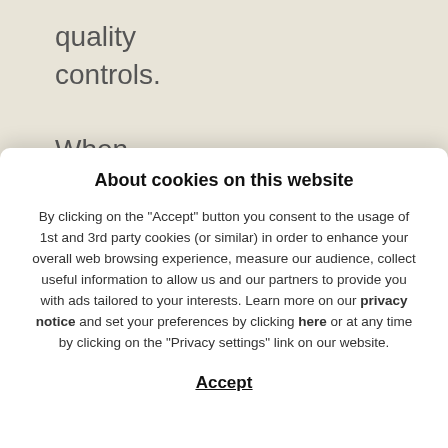quality controls.

When proteins are
About cookies on this website
By clicking on the "Accept" button you consent to the usage of 1st and 3rd party cookies (or similar) in order to enhance your overall web browsing experience, measure our audience, collect useful information to allow us and our partners to provide you with ads tailored to your interests. Learn more on our privacy notice and set your preferences by clicking here or at any time by clicking on the "Privacy settings" link on our website.
Accept